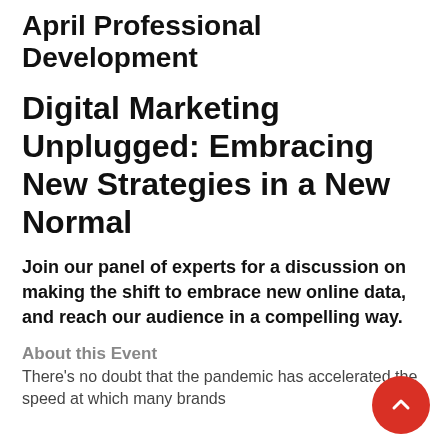April Professional Development
Digital Marketing Unplugged: Embracing New Strategies in a New Normal
Join our panel of experts for a discussion on making the shift to embrace new online data, and reach our audience in a compelling way.
About this Event
There's no doubt that the pandemic has accelerated the speed at which many brands